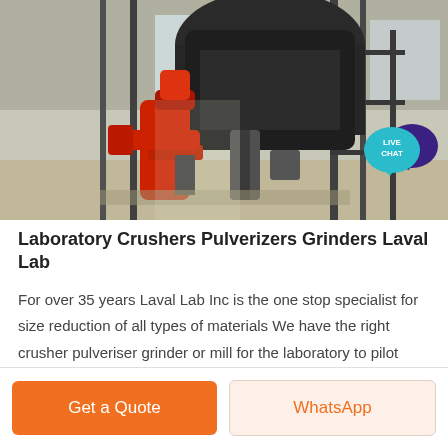[Figure (photo): Industrial laboratory crusher/pulverizer machine in a factory setting, red and black machinery on a floor with steel structure visible in background]
Laboratory Crushers Pulverizers Grinders Laval Lab
For over 35 years Laval Lab Inc is the one stop specialist for size reduction of all types of materials We have the right crusher pulveriser grinder or mill for the laboratory to pilot plant sample processing We serve all major industries such as mining and